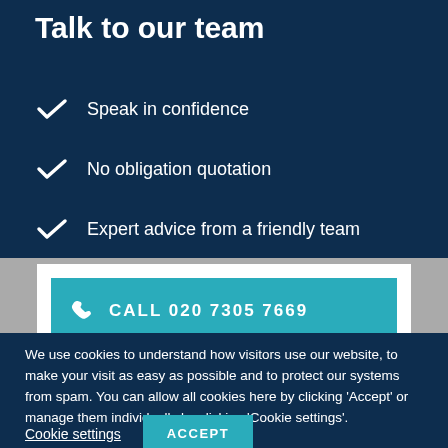Talk to our team
Speak in confidence
No obligation quotation
Expert advice from a friendly team
CALL 020 7305 7669
We use cookies to understand how visitors use our website, to make your visit as easy as possible and to protect our systems from spam. You can allow all cookies here by clicking 'Accept' or manage them individually by clicking 'Cookie settings'.
Cookie settings
ACCEPT